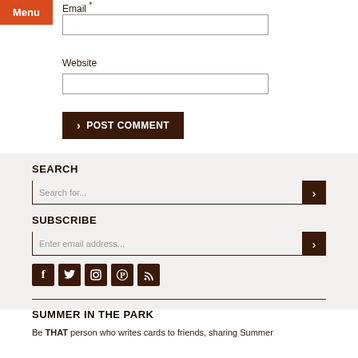Email *
Website
> POST COMMENT
SEARCH
Search for...
SUBSCRIBE
Enter email address...
[Figure (illustration): Social media icons: Facebook, Twitter, Instagram, Pinterest, RSS]
SUMMER IN THE PARK
Be THAT person who writes cards to friends, sharing Summer